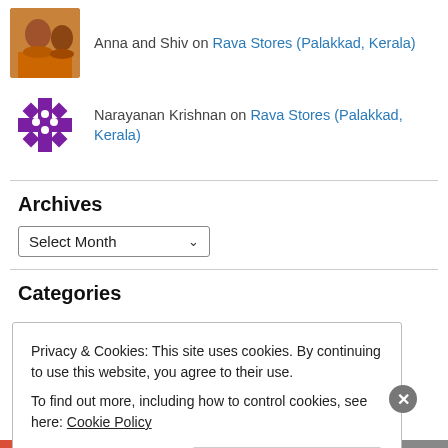Anna and Shiv on Rava Stores (Palakkad, Kerala)
Narayanan Krishnan on Rava Stores (Palakkad, Kerala)
Archives
Select Month
Categories
Privacy & Cookies: This site uses cookies. By continuing to use this website, you agree to their use.
To find out more, including how to control cookies, see here: Cookie Policy
Close and accept